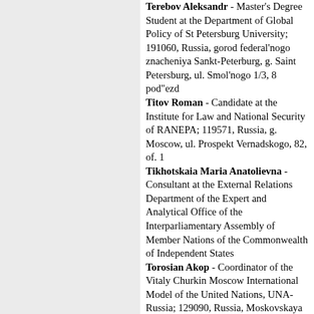Terebov Aleksandr - Master's Degree Student at the Department of Global Policy of St Petersburg University; 191060, Russia, gorod federal'nogo znacheniya Sankt-Peterburg, g. Saint Petersburg, ul. Smol'nogo 1/3, 8 pod"ezd
Titov Roman - Candidate at the Institute for Law and National Security of RANEPA; 119571, Russia, g. Moscow, ul. Prospekt Vernadskogo, 82, of. 1
Tikhotskaia Maria Anatolievna - Consultant at the External Relations Department of the Expert and Analytical Office of the Interparliamentary Assembly of Member Nations of the Commonwealth of Independent States
Torosian Akop - Coordinator of the Vitaly Churkin Moscow International Model of the United Nations, UNA-Russia; 129090, Russia, Moskovskaya...